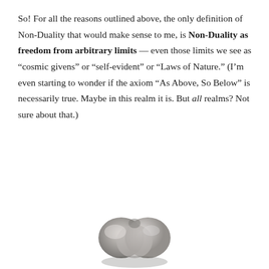So! For all the reasons outlined above, the only definition of Non-Duality that would make sense to me, is Non-Duality as freedom from arbitrary limits — even those limits we see as “cosmic givens” or “self-evident” or “Laws of Nature.” (I’m even starting to wonder if the axiom “As Above, So Below” is necessarily true. Maybe in this realm it is. But all realms? Not sure about that.)
[Figure (photo): A stone or ceramic heart-shaped object, partially visible at the bottom of the page, rendered in grayscale.]